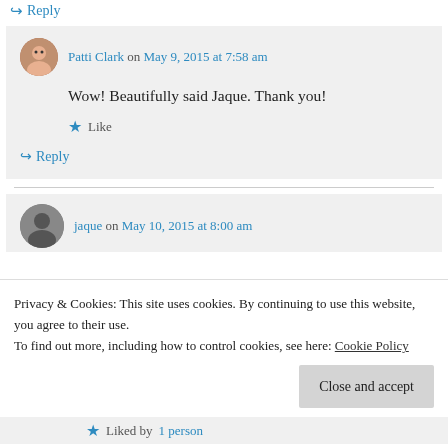↪ Reply
Patti Clark on May 9, 2015 at 7:58 am
Wow! Beautifully said Jaque. Thank you!
★ Like
↪ Reply
jaque on May 10, 2015 at 8:00 am
Privacy & Cookies: This site uses cookies. By continuing to use this website, you agree to their use. To find out more, including how to control cookies, see here: Cookie Policy
Close and accept
★ Liked by 1 person